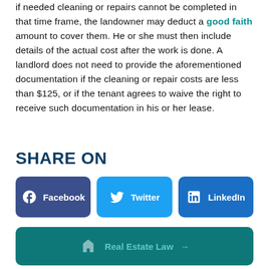if needed cleaning or repairs cannot be completed in that time frame, the landowner may deduct a good faith amount to cover them. He or she must then include details of the actual cost after the work is done. A landlord does not need to provide the aforementioned documentation if the cleaning or repair costs are less than $125, or if the tenant agrees to waive the right to receive such documentation in his or her lease.
SHARE ON
[Figure (infographic): Three social media share buttons: Facebook (dark blue), Twitter (light blue), LinkedIn (medium blue)]
[Figure (infographic): Teal banner with building icon and text 'Real Estate Law' with right arrow]